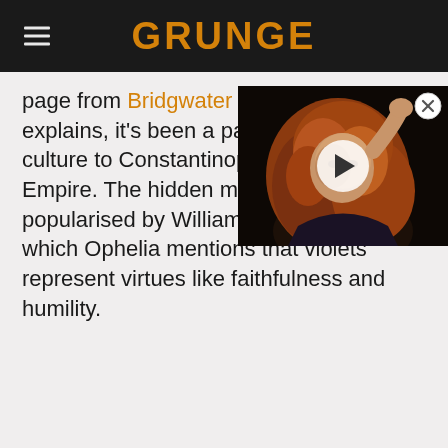GRUNGE
page from Bridgwater & Taunton College explains, it's been a part of human culture to Constantinople, when it was Empire. The hidden meanings popularised by William Shakespeare in which Ophelia mentions that violets represent virtues like faithfulness and humility.
[Figure (photo): Video thumbnail showing a woman with long curly red/auburn hair, partially in shadow, with a white play button overlay indicating an embedded video player. A close (X) button is visible in the top right corner.]